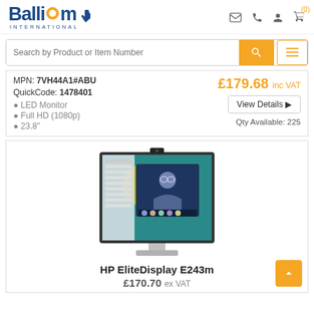[Figure (logo): Ballicom International logo in blue and orange]
Search by Product or Item Number
MPN: 7VH44A1#ABU
QuickCode: 1478401
• LED Monitor
• Full HD (1080p)
• 23.8"
£179.68 inc VAT
View Details
Qty Available: 225
[Figure (photo): HP EliteDisplay E243m monitor with webcam showing video conference]
HP EliteDisplay E243m
£170.70 ex VAT